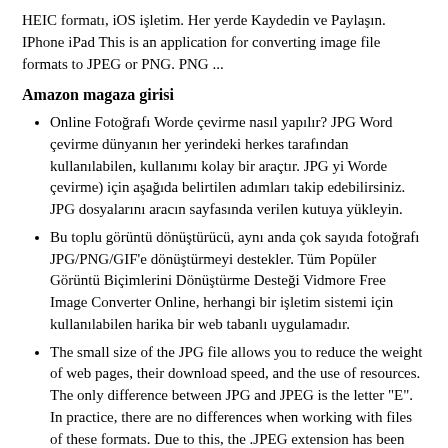HEIC formatı, iOS işletim. Her yerde Kaydedin ve Paylaşın. IPhone iPad This is an application for converting image file formats to JPEG or PNG. PNG ...
Amazon magaza girisi
Online Fotoğrafı Worde çevirme nasıl yapılır? JPG Word çevirme dünyanın her yerindeki herkes tarafından kullanılabilen, kullanımı kolay bir araçtır. JPG yi Worde çevirme) için aşağıda belirtilen adımları takip edebilirsiniz. JPG dosyalarını aracın sayfasında verilen kutuya yükleyin.
Bu toplu görüntü dönüştürücü, aynı anda çok sayıda fotoğrafı JPG/PNG/GIF'e dönüştürmeyi destekler. Tüm Popüler Görüntü Biçimlerini Dönüştürme Desteği Vidmore Free Image Converter Online, herhangi bir işletim sistemi için kullanılabilen harika bir web tabanlı uygulamadır.
The small size of the JPG file allows you to reduce the weight of web pages, their download speed, and the use of resources. The only difference between JPG and JPEG is the letter "E". In practice, there are no differences when working with files of these formats. Due to this, the .JPEG extension has been abbreviated to .JPG.
20w sarj adaptoru